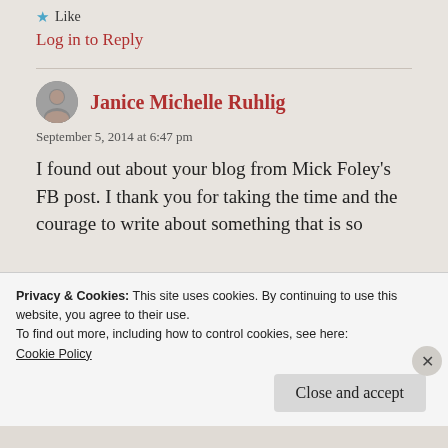★ Like
Log in to Reply
Janice Michelle Ruhlig
September 5, 2014 at 6:47 pm
I found out about your blog from Mick Foley's FB post. I thank you for taking the time and the courage to write about something that is so
Privacy & Cookies: This site uses cookies. By continuing to use this website, you agree to their use.
To find out more, including how to control cookies, see here:
Cookie Policy
Close and accept